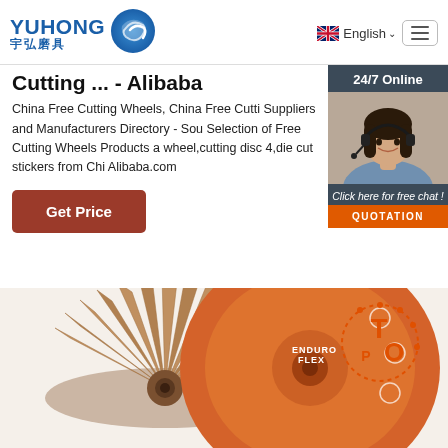[Figure (logo): Yuhong 宇弘磨具 company logo with blue wave/circle icon]
English
Cutting ... - Alibaba
China Free Cutting Wheels, China Free Cutting Wheels Suppliers and Manufacturers Directory - Source a Large Selection of Free Cutting Wheels Products at cutting wheel,cutting disc 4,die cut stickers from China Alibaba.com
Get Price
[Figure (photo): 24/7 Online customer service chat widget with photo of female customer service representative wearing headset, with 'Click here for free chat!' text and orange QUOTATION button]
[Figure (photo): Product photo of orange/brown flap disc grinding wheels (Enduro Flex brand) with TOP watermark]